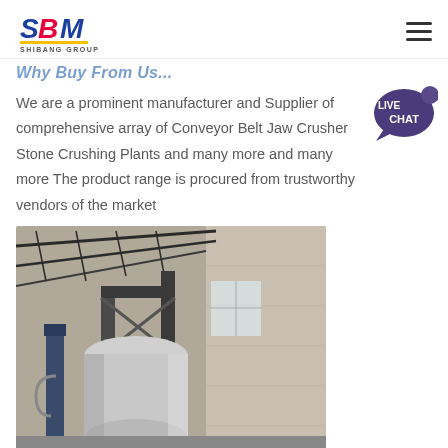SBM SHIBANG GROUP
We are a prominent manufacturer and Supplier of comprehensive array of Conveyor Belt Jaw Crusher Stone Crushing Plants and many more and many more The product range is procured from trustworthy vendors of the market
[Figure (photo): Industrial machinery inside a factory building showing a large cylindrical crusher or mill equipment mounted on a steel frame structure, with concrete walls and steel roof trusses visible in the background.]